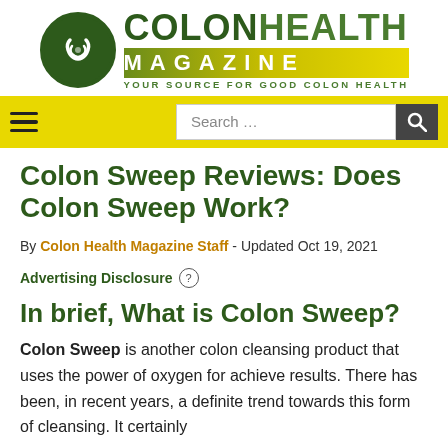[Figure (logo): Colon Health Magazine logo with green circle icon and magazine wordmark with tagline YOUR SOURCE FOR GOOD COLON HEALTH]
Search …
Colon Sweep Reviews: Does Colon Sweep Work?
By Colon Health Magazine Staff - Updated Oct 19, 2021
Advertising Disclosure ?
In brief, What is Colon Sweep?
Colon Sweep is another colon cleansing product that uses the power of oxygen for achieve results. There has been, in recent years, a definite trend towards this form of cleansing. It certainly